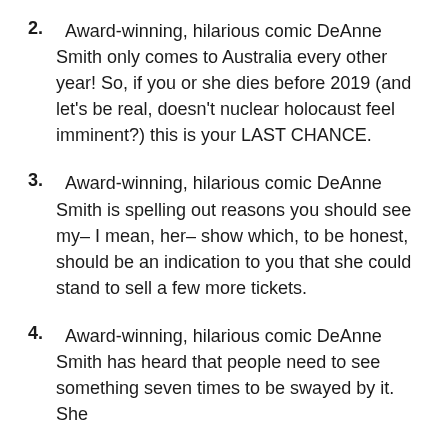2.  Award-winning, hilarious comic DeAnne Smith only comes to Australia every other year! So, if you or she dies before 2019 (and let’s be real, doesn’t nuclear holocaust feel imminent?) this is your LAST CHANCE.
3.  Award-winning, hilarious comic DeAnne Smith is spelling out reasons you should see my– I mean, her– show which, to be honest, should be an indication to you that she could stand to sell a few more tickets.
4.  Award-winning, hilarious comic DeAnne Smith has heard that people need to see something seven times to be swayed by it. She